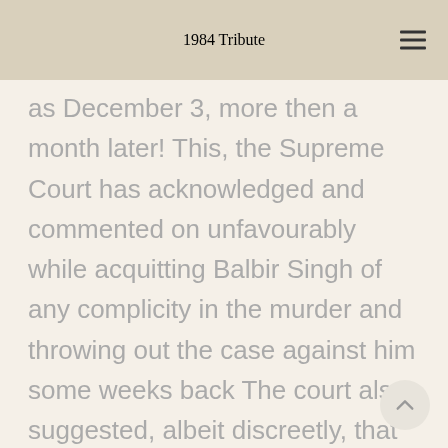1984 Tribute
as December 3, more then a month later! This, the Supreme Court has acknowledged and commented on unfavourably while acquitting Balbir Singh of any complicity in the murder and throwing out the case against him some weeks back The court also suggested, albeit discreetly, that the SIT had been fabricating evidence in Balbir Singh's case.